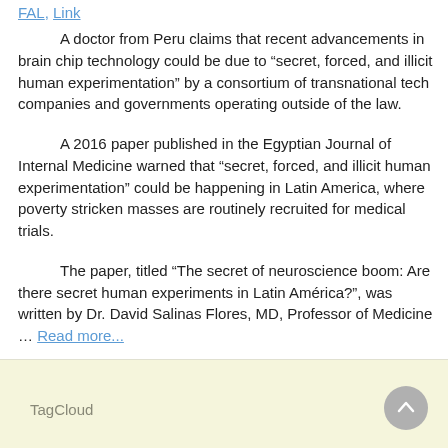FAL, Link
A doctor from Peru claims that recent advancements in brain chip technology could be due to “secret, forced, and illicit human experimentation” by a consortium of transnational tech companies and governments operating outside of the law.
A 2016 paper published in the Egyptian Journal of Internal Medicine warned that “secret, forced, and illicit human experimentation” could be happening in Latin America, where poverty stricken masses are routinely recruited for medical trials.
The paper, titled “The secret of neuroscience boom: Are there secret human experiments in Latin América?”, was written by Dr. David Salinas Flores, MD, Professor of Medicine … Read more...
TagCloud